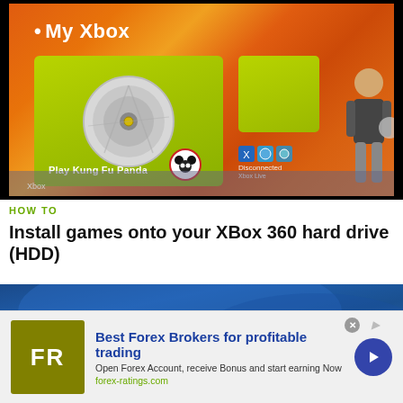[Figure (screenshot): Xbox 360 dashboard screenshot showing My Xbox menu with Play Kung Fu Panda option selected, green card with disc, avatar character, and game icons on orange background]
HOW TO
Install games onto your XBox 360 hard drive (HDD)
[Figure (screenshot): Second video thumbnail showing a blue abstract background]
[Figure (infographic): Advertisement banner: FR logo (olive/yellow-green background), Best Forex Brokers for profitable trading, Open Forex Account, receive Bonus and start earning Now, forex-ratings.com, with blue arrow button]